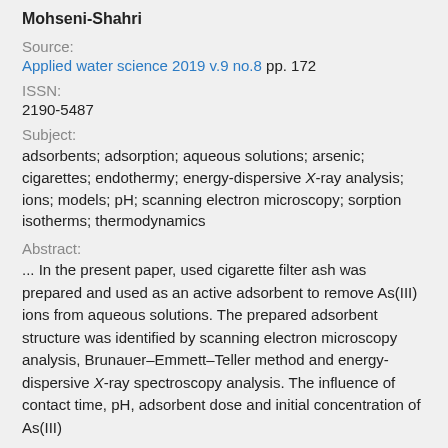Mohseni-Shahri
Source:
Applied water science 2019 v.9 no.8 pp. 172
ISSN:
2190-5487
Subject:
adsorbents; adsorption; aqueous solutions; arsenic; cigarettes; endothermy; energy-dispersive X-ray analysis; ions; models; pH; scanning electron microscopy; sorption isotherms; thermodynamics
Abstract:
... In the present paper, used cigarette filter ash was prepared and used as an active adsorbent to remove As(III) ions from aqueous solutions. The prepared adsorbent structure was identified by scanning electron microscopy analysis, Brunauer–Emmett–Teller method and energy-dispersive X-ray spectroscopy analysis. The influence of contact time, pH, adsorbent dose and initial concentration of As(III)